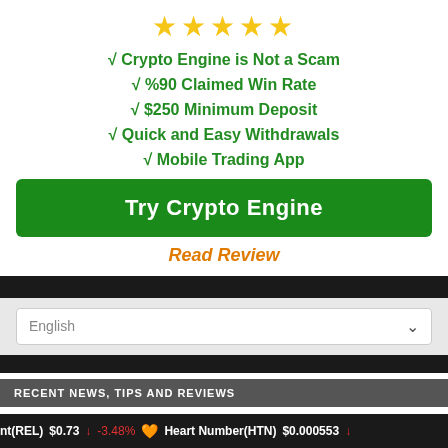[Figure (other): Five gold star rating icons]
✓ Crypto Engine is Not a Scam
✓ %90 Claimed Win Rate
✓ $250 Minimum Deposit
✓ Quick and Easy Withdrawals
✓ Mobile Trading App
Try Crypto Engine
Read Review
English
RECENT NEWS, TIPS AND REVIEWS
nt(REL) $0.73 ↓ -3.48% 🧡 Heart Number(HTN) $0.000553 ↓